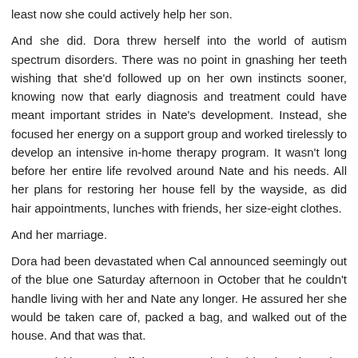least now she could actively help her son.
And she did. Dora threw herself into the world of autism spectrum disorders. There was no point in gnashing her teeth wishing that she'd followed up on her own instincts sooner, knowing now that early diagnosis and treatment could have meant important strides in Nate's development. Instead, she focused her energy on a support group and worked tirelessly to develop an intensive in-home therapy program. It wasn't long before her entire life revolved around Nate and his needs. All her plans for restoring her house fell by the wayside, as did hair appointments, lunches with friends, her size-eight clothes.
And her marriage.
Dora had been devastated when Cal announced seemingly out of the blue one Saturday afternoon in October that he couldn't handle living with her and Nate any longer. He assured her she would be taken care of, packed a bag, and walked out of the house. And that was that.
Dora quickly turned off the stove and wiped her hands on her apron. She put on a bright smile to greet her son, fighting her instinct to lean